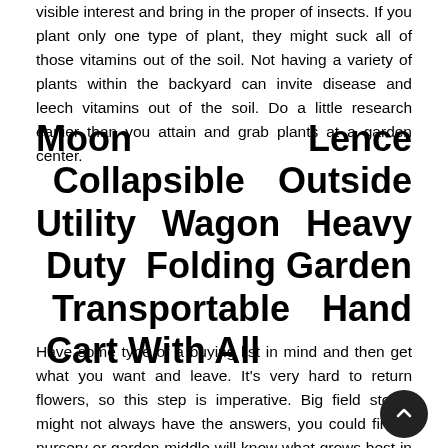visible interest and bring in the proper of insects. If you plant only one type of plant, they might suck all of those vitamins out of the soil. Not having a variety of plants within the backyard can invite disease and leech vitamins out of the soil. Do a little research earlier than you attain and grab plants at a garden center.
Moon Lence Collapsible Outside Utility Wagon Heavy Duty Folding Garden Transportable Hand Cart With All
Have some type of a buying list in mind and then get what you want and leave. It's very hard to return flowers, so this step is imperative. Big field stores might not always have the answers, you could find a nursery or garden middle will know what grows best in your area and under what situations. Before filling your yard with a gaggle of garden gnomes, ask yourself why you are placing it there and how it fits the context of your overall design and plant materials. Inste...